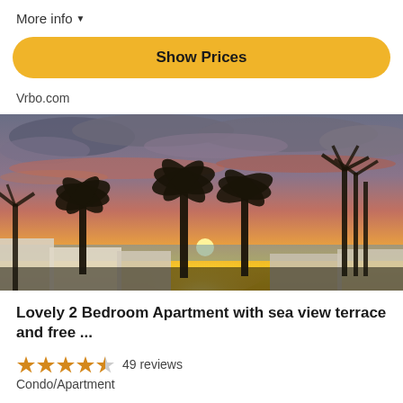More info ▼
Show Prices
Vrbo.com
[Figure (photo): Sunset photo with palm tree silhouettes against a dramatic orange, yellow, and purple sky over the ocean, with white buildings visible below.]
Lovely 2 Bedroom Apartment with sea view terrace and free ...
49 reviews
Condo/Apartment